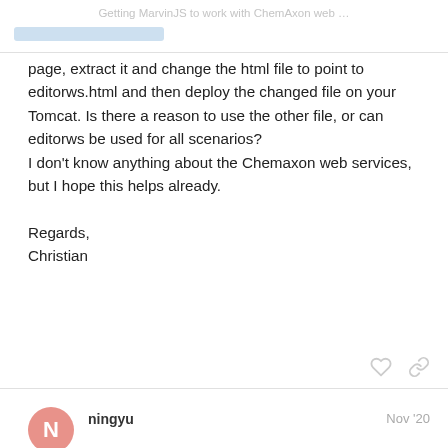Getting MarvinJS to work with ChemAxon web ...
page, extract it and change the html file to point to editorws.html and then deploy the changed file on your Tomcat. Is there a reason to use the other file, or can editorws be used for all scenarios?
I don’t know anything about the Chemaxon web services, but I hope this helps already.

Regards,
Christian
ningyu   Nov ’20
Thanks, I will look into modifying the MarvinJS war file directly.

On the difference between editor.html and editorws.html, if we deploy the latter without deploying JChem Web Services, the